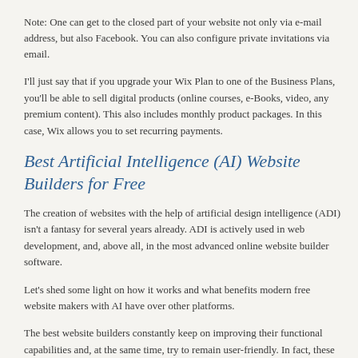Note: One can get to the closed part of your website not only via e-mail address, but also Facebook. You can also configure private invitations via email.
I'll just say that if you upgrade your Wix Plan to one of the Business Plans, you'll be able to sell digital products (online courses, e-Books, video, any premium content). This also includes monthly product packages. In this case, Wix allows you to set recurring payments.
Best Artificial Intelligence (AI) Website Builders for Free
The creation of websites with the help of artificial design intelligence (ADI) isn't a fantasy for several years already. ADI is actively used in web development, and, above all, in the most advanced online website builder software.
Let's shed some light on how it works and what benefits modern free website makers with AI have over other platforms.
The best website builders constantly keep on improving their functional capabilities and, at the same time, try to remain user-friendly. In fact, these are